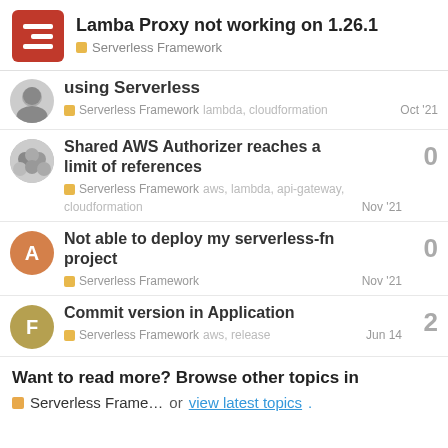Lamba Proxy not working on 1.26.1 — Serverless Framework
using Serverless — Serverless Framework — lambda, cloudformation — Oct '21
Shared AWS Authorizer reaches a limit of references — Serverless Framework — aws, lambda, api-gateway, cloudformation — Nov '21 — 0
Not able to deploy my serverless-fn project — Serverless Framework — Nov '21 — 0
Commit version in Application — Serverless Framework — aws, release — Jun 14 — 2
Want to read more? Browse other topics in Serverless Frame... or view latest topics.